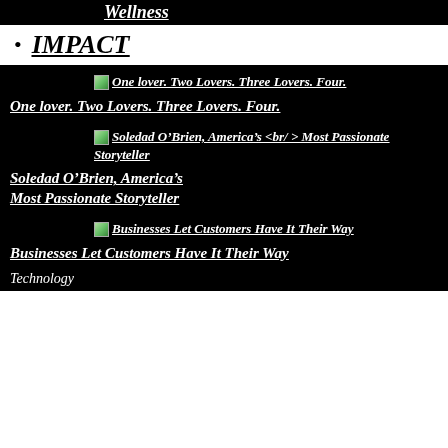Wellness
IMPACT
One lover. Two Lovers. Three Lovers. Four.
One lover. Two Lovers. Three Lovers. Four.
Soledad O’Brien, America’s <br/ > Most Passionate Storyteller
Soledad O’Brien, America’s Most Passionate Storyteller
Businesses Let Customers Have It Their Way
Businesses Let Customers Have It Their Way
Technology